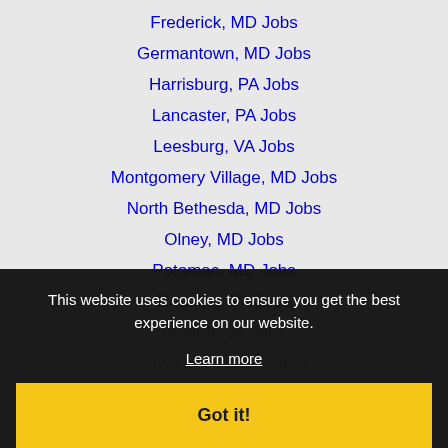Frederick, MD Jobs
Germantown, MD Jobs
Harrisburg, PA Jobs
Lancaster, PA Jobs
Leesburg, VA Jobs
Montgomery Village, MD Jobs
North Bethesda, MD Jobs
Olney, MD Jobs
Potomac, MD Jobs
Reading, PA Jobs
Reston, VA Jobs
Silver Spring, MD Jobs
Sterling, VA Jobs
Wheaton, MD Jobs
Washington DC Jobs
Wheaton-Glenmont, MD Jobs
This website uses cookies to ensure you get the best experience on our website.
Learn more
Got it!